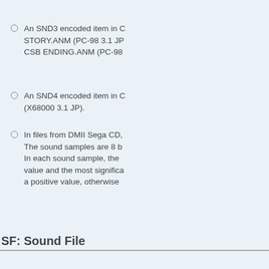An SND3 encoded item in STORY.ANM (PC-98 3.1 JP), CSB ENDING.ANM (PC-98
An SND4 encoded item in (X68000 3.1 JP).
In files from DMII Sega CD, The sound samples are 8 b In each sound sample, the value and the most significa a positive value, otherwise
SF: Sound File
An SF item contains the name of an file should be the same as the data s
Header (6 bytes)
2 bytes: Item type: 'SF'
1 word (big endian): Size of
1 word (big endian): Item a